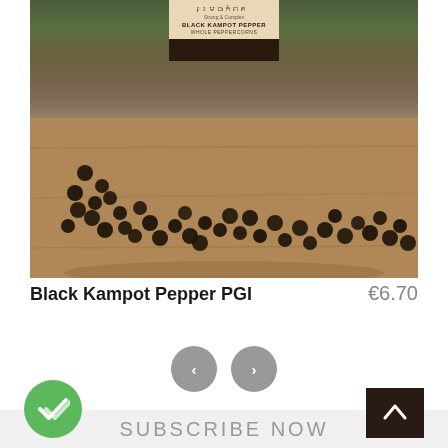[Figure (photo): Product photo of Black Kampot Pepper PGI jar with whole black peppercorns scattered on a wooden surface]
Black Kampot Pepper PGI
€6.70
[Figure (infographic): Navigation carousel previous/next arrow buttons (grey circles with < and > arrows)]
SUBSCRIBE NOW
[Figure (illustration): Green circular button with double checkmark icon]
[Figure (illustration): Dark brown square back-to-top button with upward arrow]